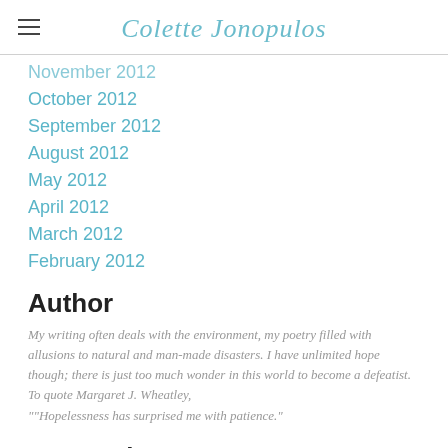Colette Jonopulos
November 2012
October 2012
September 2012
August 2012
May 2012
April 2012
March 2012
February 2012
Author
My writing often deals with the environment, my poetry filled with allusions to natural and man-made disasters. I have unlimited hope though; there is just too much wonder in this world to become a defeatist. To quote Margaret J. Wheatley, ""Hopelessness has surprised me with patience."
Categories